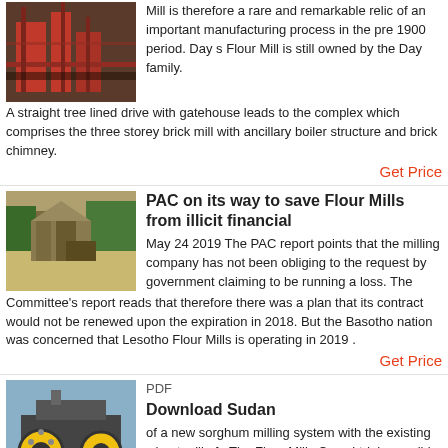Mill is therefore a rare and remarkable relic of an important manufacturing process in the pre 1900 period. Day s Flour Mill is still owned by the Day family. A straight tree lined drive with gatehouse leads to the complex which comprises the three storey brick mill with ancillary boiler structure and brick chimney.
Get Price
[Figure (photo): Industrial mining/milling equipment with metal structures and machinery]
PAC on its way to save Flour Mills from illicit financial
May 24 2019  The PAC report points that the milling company has not been obliging to the request by government claiming to be running a loss. The Committee’s report reads that therefore there was a plan that its contract would not be renewed upon the expiration in 2018. But the Basotho nation was concerned that Lesotho Flour Mills is operating in 2019 .
Get Price
[Figure (photo): Yellow and black industrial milling machinery]
PDF
Download Sudan
of a new sorghum milling system with the existing wheat mill of qThe Flour Mills Co. s Ltd. is possible and the following recommendations can be given 1. The